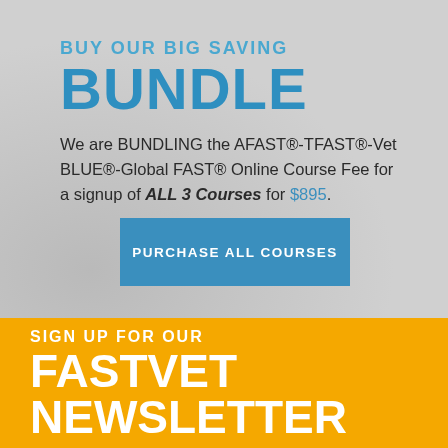BUY OUR BIG SAVING
BUNDLE
We are BUNDLING the AFAST®-TFAST®-Vet BLUE®-Global FAST® Online Course Fee for a signup of ALL 3 Courses for $895.
PURCHASE ALL COURSES
SIGN UP FOR OUR
FASTVET
NEWSLETTER